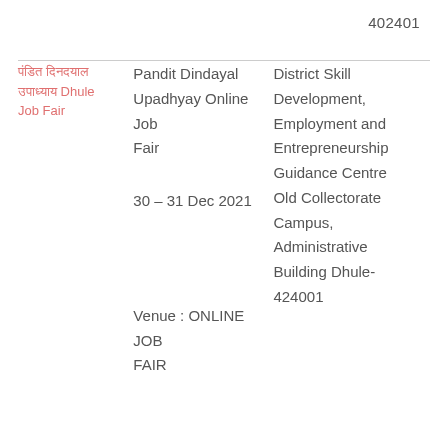402401
| [Marathi text] Dhule Job Fair | Pandit Dindayal Upadhyay Online Job Fair
30 – 31 Dec 2021
Venue : ONLINE JOB FAIR | District Skill Development, Employment and Entrepreneurship Guidance Centre Old Collectorate Campus, Administrative Building Dhule-424001 |